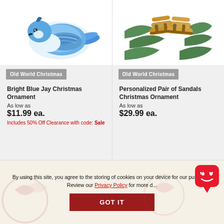[Figure (photo): Bright Blue Jay Christmas ornament - decorative glass bird ornament in blue and white]
Old World Christmas
Bright Blue Jay Christmas Ornament
As low as
$11.99 ea.
Includes 50% Off Clearance with code: Sale
[Figure (photo): Personalized Pair of Sandals Christmas ornament hanging on pine tree branches]
Old World Christmas
Personalized Pair of Sandals Christmas Ornament
As low as
$29.99 ea.
By using this site, you agree to the storing of cookies on your device for our purposes. Review our Privacy Policy for more details.
GOT IT